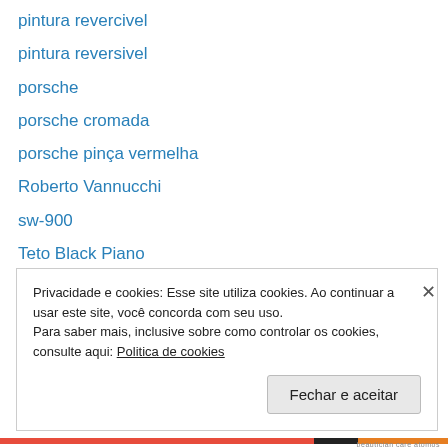pintura revercivel
pintura reversivel
porsche
porsche cromada
porsche pinça vermelha
Roberto Vannucchi
sw-900
Teto Black Piano
Uncategorized
Vannucchi
veloster
veloster branco pérola
wrapping
Privacidade e cookies: Esse site utiliza cookies. Ao continuar a usar este site, você concorda com seu uso.
Para saber mais, inclusive sobre como controlar os cookies, consulte aqui: Politica de cookies
Fechar e aceitar